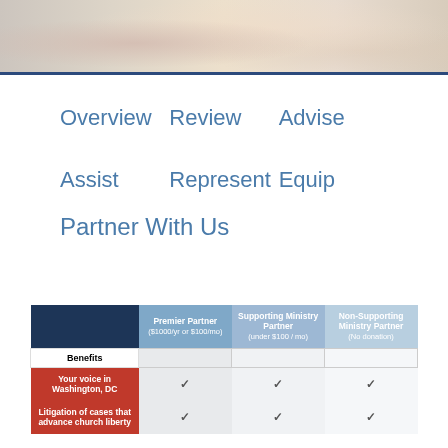[Figure (photo): Blurred photo banner showing people in a casual indoor setting]
Overview   Review   Advise
Assist   Represent   Equip
Partner With Us
|  | Premier Partner ($1000/yr or $100/mo) | Supporting Ministry Partner (under $100/mo) | Non-Supporting Ministry Partner (No donation) |
| --- | --- | --- | --- |
| Benefits |  |  |  |
| Your voice in Washington, DC | ✓ | ✓ | ✓ |
| Litigation of cases that advance church liberty | ✓ | ✓ | ✓ |